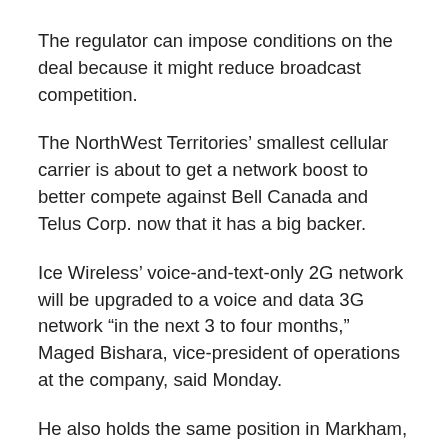The regulator can impose conditions on the deal because it might reduce broadcast competition.
The NorthWest Territories' smallest cellular carrier is about to get a network boost to better compete against Bell Canada and Telus Corp. now that it has a big backer.
Ice Wireless' voice-and-text-only 2G network will be upgraded to a voice and data 3G network “in the next 3 to four months,” Maged Bishara, vice-president of operations at the company, said Monday.
He also holds the same position in Markham, Ont.-based broadband provider Iristel Inc., which became Ice Wireless’ largest shareholder earlier this year.